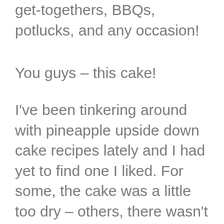get-togethers, BBQs, potlucks, and any occasion!
You guys – this cake!
I've been tinkering around with pineapple upside down cake recipes lately and I had yet to find one I liked. For some, the cake was a little too dry – others, there wasn't enough pineapple flavor or general pizzazz. I even found one recipe on the internet using dried cranberries in place of the maraschino cherries which is a crime against humanity and threatens the welfare of the world. Yeah, they're neon red and full of sugar, but maraschino